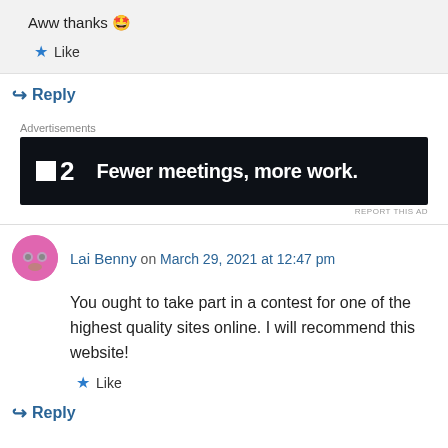Aww thanks 🤩
★ Like
↪ Reply
Advertisements
[Figure (other): Advertisement banner for a software tool with dark background. Logo shows a small white square and '2'. Text reads: 'Fewer meetings, more work.']
Lai Benny on March 29, 2021 at 12:47 pm
You ought to take part in a contest for one of the highest quality sites online. I will recommend this website!
★ Like
↪ Reply